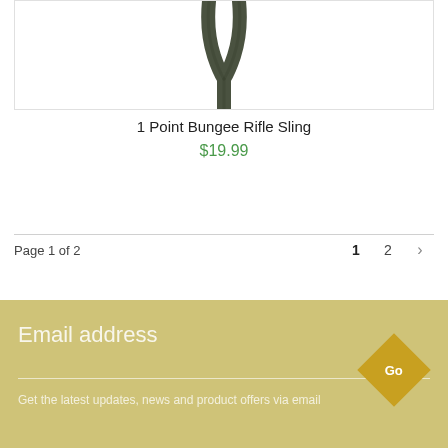[Figure (photo): Product photo of a 1 Point Bungee Rifle Sling in dark olive green color, showing the Y-shaped bungee sling straps against a white background]
1 Point Bungee Rifle Sling
$19.99
Page 1 of 2
Email address
Go
Get the latest updates, news and product offers via email